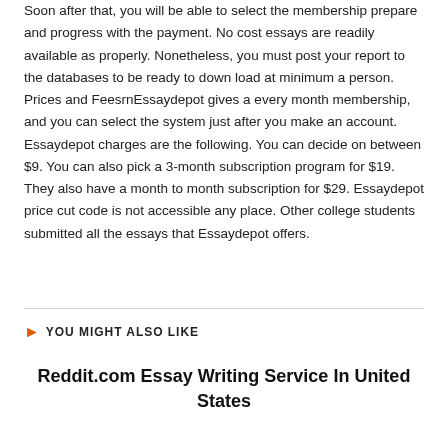Soon after that, you will be able to select the membership prepare and progress with the payment. No cost essays are readily available as properly. Nonetheless, you must post your report to the databases to be ready to down load at minimum a person. Prices and FeesrnEssaydepot gives a every month membership, and you can select the system just after you make an account. Essaydepot charges are the following. You can decide on between $9. You can also pick a 3-month subscription program for $19. They also have a month to month subscription for $29. Essaydepot price cut code is not accessible any place. Other college students submitted all the essays that Essaydepot offers.
YOU MIGHT ALSO LIKE
Reddit.com Essay Writing Service In United States